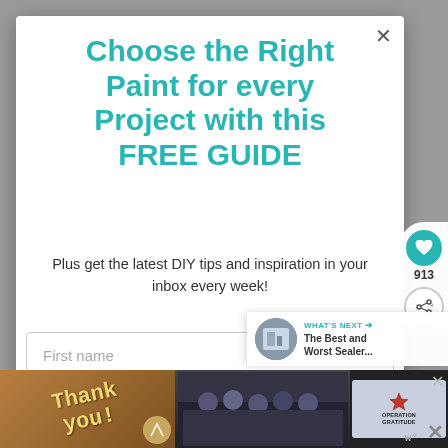Choose the Right Paint for every Project with this FREE GUIDE
Plus get the latest DIY tips and inspiration in your inbox every week!
First name
WHAT'S NEXT → The Best and Worst Sealer...
[Figure (screenshot): Advertisement bar at bottom with 'Thank you' text and Operation Gratitude logo, with firefighters photo]
913